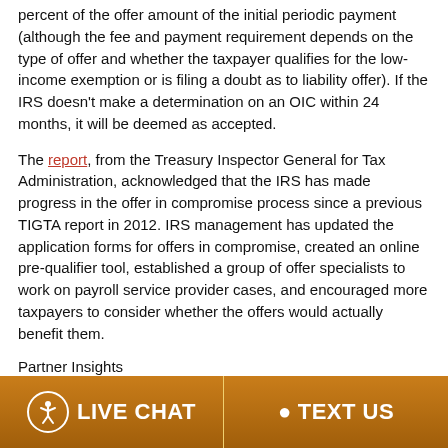percent of the offer amount of the initial periodic payment (although the fee and payment requirement depends on the type of offer and whether the taxpayer qualifies for the low-income exemption or is filing a doubt as to liability offer). If the IRS doesn't make a determination on an OIC within 24 months, it will be deemed as accepted.
The report, from the Treasury Inspector General for Tax Administration, acknowledged that the IRS has made progress in the offer in compromise process since a previous TIGTA report in 2012. IRS management has updated the application forms for offers in compromise, created an online pre-qualifier tool, established a group of offer specialists to work on payroll service provider cases, and encouraged more taxpayers to consider whether the offers would actually benefit them.
Partner Insights
[Figure (photo): Partial image of stacked coins or financial-themed illustration in warm brown/gold tones]
Nevertheless, according to the
LIVE CHAT   TEXT US